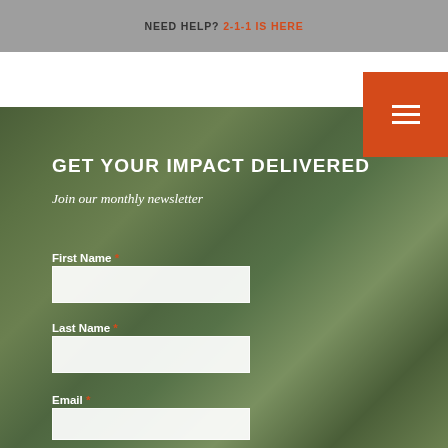NEED HELP? 2-1-1 IS HERE
GET YOUR IMPACT DELIVERED
Join our monthly newsletter
First Name *
Last Name *
Email *